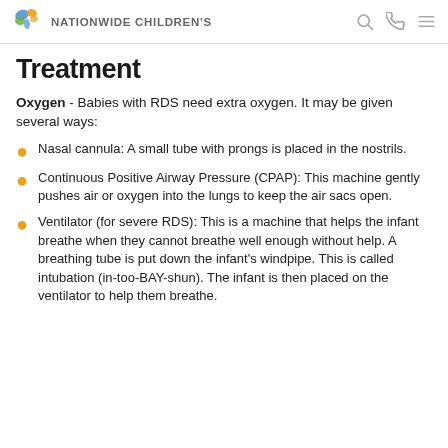Nationwide Children's
Treatment
Oxygen - Babies with RDS need extra oxygen. It may be given several ways:
Nasal cannula:  A small tube with prongs is placed in the nostrils.
Continuous Positive Airway Pressure (CPAP):  This machine gently pushes air or oxygen into the lungs to keep the air sacs open.
Ventilator (for severe RDS):  This is a machine that helps the infant breathe when they cannot breathe well enough without help. A breathing tube is put down the infant's windpipe. This is called intubation (in-too-BAY-shun). The infant is then placed on the ventilator to help them breathe.